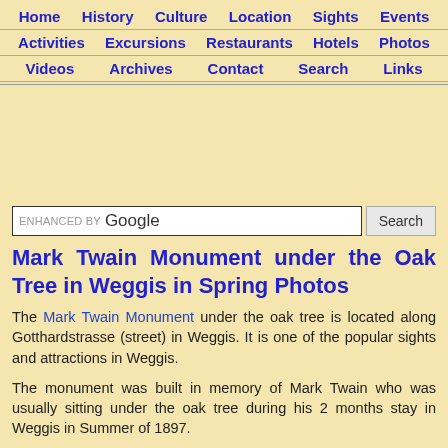Home  History  Culture  Location  Sights  Events  Activities  Excursions  Restaurants  Hotels  Photos  Videos  Archives  Contact  Search  Links
[Figure (other): Advertisement space (blank/empty area)]
ENHANCED BY Google  Search
Mark Twain Monument under the Oak Tree in Weggis in Spring Photos
The Mark Twain Monument under the oak tree is located along Gotthardstrasse (street) in Weggis. It is one of the popular sights and attractions in Weggis.
The monument was built in memory of Mark Twain who was usually sitting under the oak tree during his 2 months stay in Weggis in Summer of 1897.